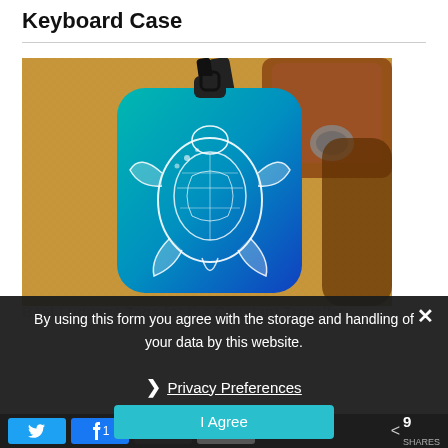Keyboard Case
[Figure (photo): A luggage tag with a sea turtle design on a teal-to-blue gradient background, placed on a tan/brown woven fabric surface with leather bag straps visible in the background.]
Best Luggage Tags for the Constant Traveller
By using this form you agree with the storage and handling of your data by this website.
Privacy Preferences
I Agree